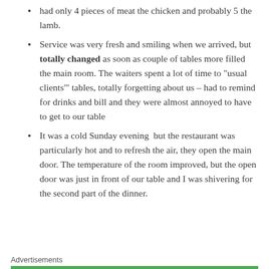had only 4 pieces of meat the chicken and probably 5 the lamb.
Service was very fresh and smiling when we arrived, but totally changed as soon as couple of tables more filled the main room. The waiters spent a lot of time to "usual clients'" tables, totally forgetting about us – had to remind for drinks and bill and they were almost annoyed to have to get to our table
It was a cold Sunday evening  but the restaurant was particularly hot and to refresh the air, they open the main door. The temperature of the room improved, but the open door was just in front of our table and I was shivering for the second part of the dinner.
Advertisements